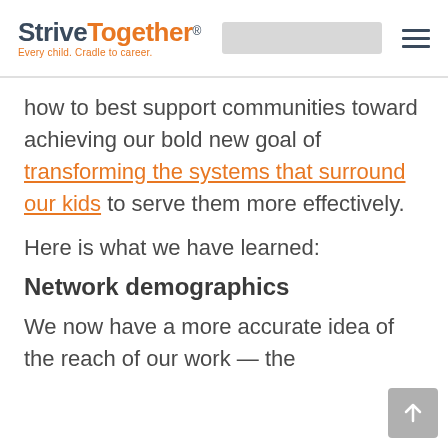StriveTogether® Every child. Cradle to career.
how to best support communities toward achieving our bold new goal of transforming the systems that surround our kids to serve them more effectively.
Here is what we have learned:
Network demographics
We now have a more accurate idea of the reach of our work — the